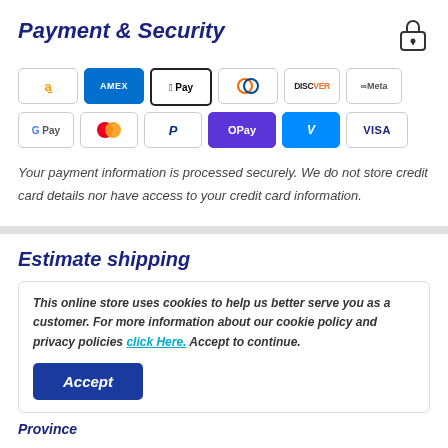Payment & Security
[Figure (logo): Payment method icons: Amazon, AMEX, Apple Pay, Diners Club, Discover, Meta, Google Pay, Mastercard, PayPal, OPay, Venmo, Visa]
Your payment information is processed securely. We do not store credit card details nor have access to your credit card information.
Estimate shipping
This online store uses cookies to help us better serve you as a customer. For more information about our cookie policy and privacy policies click Here. Accept to continue.
Accept
Province